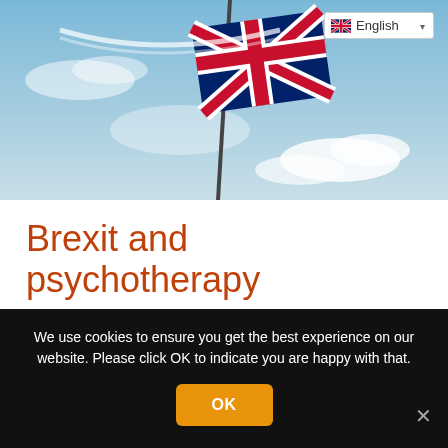[Figure (photo): Union Jack (British flag) waving against a blue sky with clouds, photographed from below against a flagpole. A language selector dropdown showing 'English' with a UK flag icon is overlaid in the top-right corner.]
Brexit and psychotherapy
The political field is not often a subject that is directly talked about in therapy sessions. There may be remarks and comments, but it is rarely the
We use cookies to ensure you get the best experience on our website. Please click OK to indicate you are happy with that.